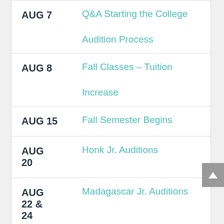| Date | Event |
| --- | --- |
| AUG 7 | Q&A Starting the College Audition Process |
| AUG 8 | Fall Classes – Tuition Increase |
| AUG 15 | Fall Semester Begins |
| AUG 20 | Honk Jr. Auditions |
| AUG 22 & 24 | Madagascar Jr. Auditions |
| AUG | Rhyming Macbeth |